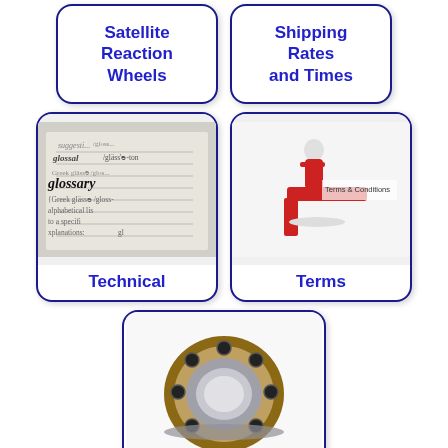[Figure (infographic): Navigation tile card: Satellite Reaction Wheels (text only, blue text on white with dark blue border)]
[Figure (infographic): Navigation tile card: Shipping Rates and Times (text only, blue text on white with dark blue border)]
[Figure (infographic): Navigation tile card: Technical with glossary/dictionary image at top and blue text label]
[Figure (infographic): Navigation tile card: Terms with Terms & Conditions 3D figure image and blue text label]
[Figure (infographic): Navigation tile card showing two ball bearing / mechanical bearing images stacked vertically inside a rounded border card]